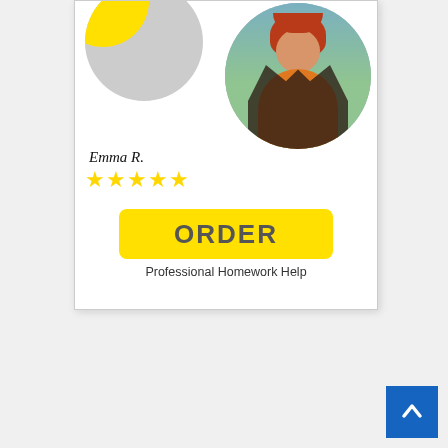nerve cells.
[Figure (illustration): Advertisement card with a circular photo of a red-haired woman in an orange top and dark jacket, a grey circle with yellow arc decoration, reviewer name Emma R. with five gold stars rating, a yellow ORDER button, and subtitle Professional Homework Help]
Emma R.
★★★★★
ORDER
Professional Homework Help